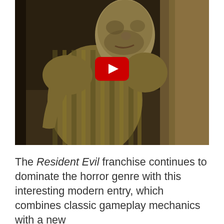[Figure (screenshot): Video thumbnail showing a zombie-like character in a striped shirt in a dimly lit room, with a YouTube play button overlay in the center.]
The Resident Evil franchise continues to dominate the horror genre with this interesting modern entry, which combines classic gameplay mechanics with a new